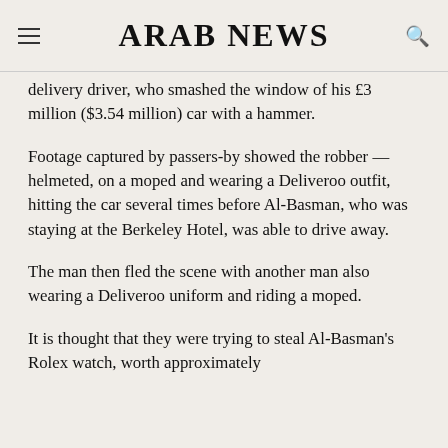ARAB NEWS
delivery driver, who smashed the window of his £3 million ($3.54 million) car with a hammer.
Footage captured by passers-by showed the robber — helmeted, on a moped and wearing a Deliveroo outfit, hitting the car several times before Al-Basman, who was staying at the Berkeley Hotel, was able to drive away.
The man then fled the scene with another man also wearing a Deliveroo uniform and riding a moped.
It is thought that they were trying to steal Al-Basman's Rolex watch, worth approximately